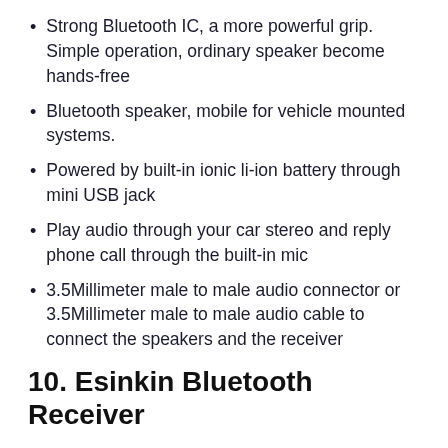Strong Bluetooth IC, a more powerful grip. Simple operation, ordinary speaker become hands-free
Bluetooth speaker, mobile for vehicle mounted systems.
Powered by built-in ionic li-ion battery through mini USB jack
Play audio through your car stereo and reply phone call through the built-in mic
3.5Millimeter male to male audio connector or 3.5Millimeter male to male audio cable to connect the speakers and the receiver
10. Esinkin Bluetooth Receiver